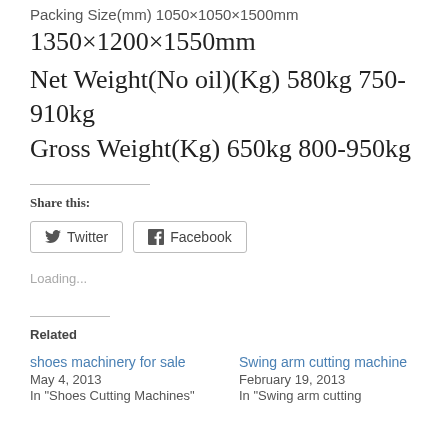Packing Size(mm) 1050×1050×1500mm
1350×1200×1550mm
Net Weight(No oil)(Kg) 580kg 750-910kg
Gross Weight(Kg) 650kg 800-950kg
Share this:
Twitter
Facebook
Loading...
Related
shoes machinery for sale
May 4, 2013
In "Shoes Cutting Machines"
Swing arm cutting machine
February 19, 2013
In "Swing arm cutting